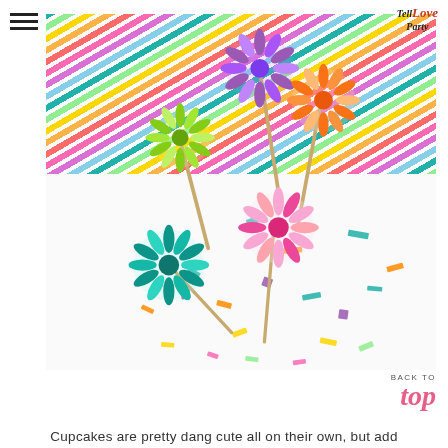Tell Love Party (logo) | hamburger menu
[Figure (photo): Colorful paper pom-pom flower cupcake toppers on sticks arranged on a white surface with confetti sprinkles, set against a colorful diagonal striped background. Flowers include purple, yellow-green, orange, teal, and pink pom-poms.]
BACK TO
top
Cupcakes are pretty dang cute all on their own, but add